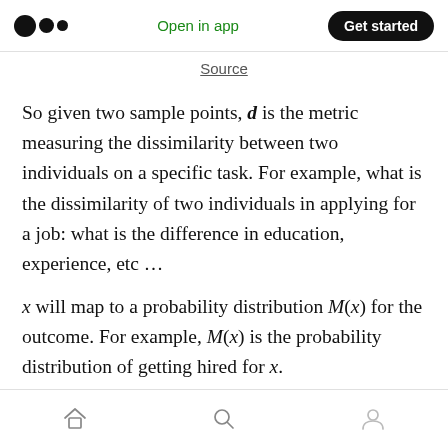Open in app  Get started
Source
So given two sample points, d is the metric measuring the dissimilarity between two individuals on a specific task. For example, what is the dissimilarity of two individuals in applying for a job: what is the difference in education, experience, etc …
x will map to a probability distribution M(x) for the outcome. For example, M(x) is the probability distribution of getting hired for x.